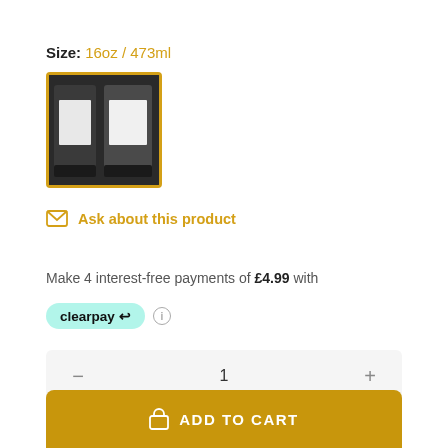Size: 16oz / 473ml
[Figure (photo): Product thumbnail showing two dark jars/bottles with labels, displayed in a selected state with a gold/yellow border]
Ask about this product
Make 4 interest-free payments of £4.99 with
[Figure (logo): Clearpay logo badge in mint/teal color with chain link arrow icon]
1
ADD TO CART